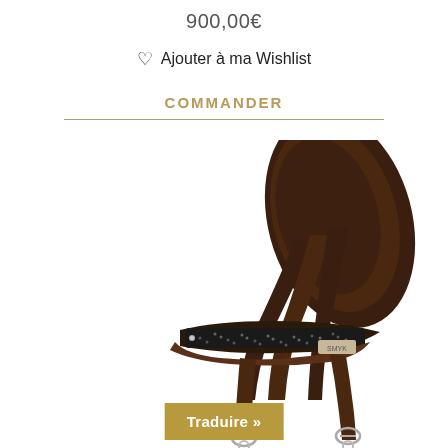900,00€
♡  Ajouter à ma Wishlist
COMMANDER
[Figure (photo): A dark brown leather horse bridle/browband with black crystal-studded noseband, showing the headpiece with multiple straps and metal hardware, photographed on a white background]
Traduire »